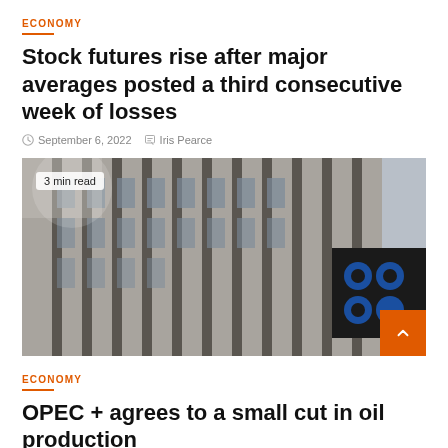ECONOMY
Stock futures rise after major averages posted a third consecutive week of losses
September 6, 2022   Iris Pearce
[Figure (photo): Upward-angle photograph of a modern concrete office building facade with vertical fins, featuring the OPEC logo on a dark sign at the right side. A badge in the top-left reads '3 min read'.]
ECONOMY
OPEC + agrees to a small cut in oil production